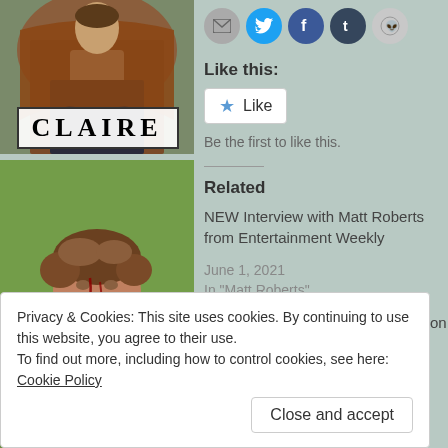[Figure (photo): Person wearing a brown cape/cloak with white shirt underneath, with CLAIRE text overlay in ornate letters on a white background box]
[Figure (photo): Young man with brown curly hair and blood on his face, looking to the side, outdoors with green background]
Social share icons: email, Twitter, Facebook, Tumblr, Reddit
Like this:
Like
Be the first to like this.
Related
NEW Interview with Matt Roberts from Entertainment Weekly
June 1, 2021
In "Matt Roberts"
NEW Interview with Diana Gabaldon fro
Privacy & Cookies: This site uses cookies. By continuing to use this website, you agree to their use.
To find out more, including how to control cookies, see here: Cookie Policy
Close and accept